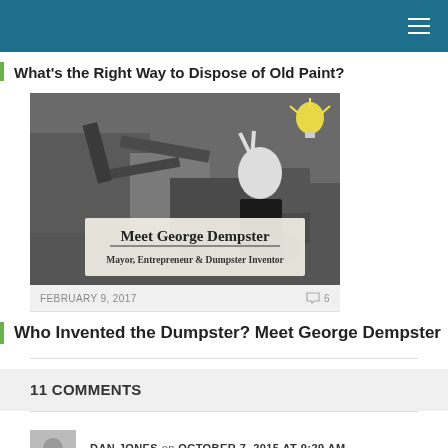Navigation bar with hamburger menu
What’s the Right Way to Dispose of Old Paint?
[Figure (photo): Black and white photo of George Dempster making a peace sign, with text overlay: 'Meet George Dempster - Mayor, Entrepreneur & Dumpster Inventor']
FEBRUARY 9, 2017   💬 6
Who Invented the Dumpster? Meet George Dempster
11 COMMENTS
DAN JONES on OCTOBER 7, 2015 AT 9:29 AM